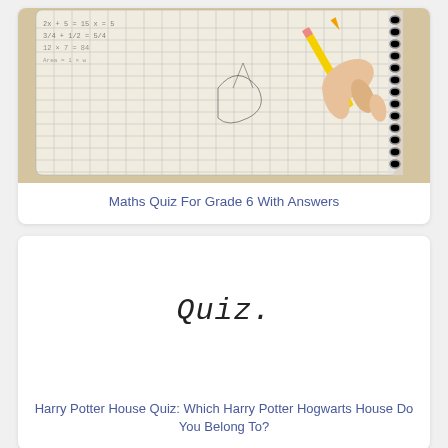[Figure (photo): A person's hand holding a yellow pencil writing in a math notebook with grid paper, viewed from above.]
Maths Quiz For Grade 6 With Answers
[Figure (illustration): White card with the word 'Quiz' written in a hand-lettered font in the center.]
Harry Potter House Quiz: Which Harry Potter Hogwarts House Do You Belong To?